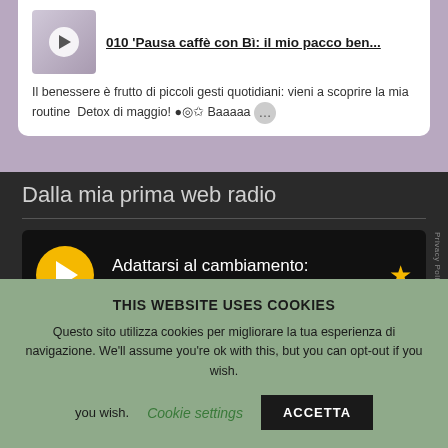010 'Pausa caffè con Bì: il mio pacco ben...
Il benessere è frutto di piccoli gesti quotidiani: vieni a scoprire la mia routine  Detox di maggio! ●◎✩ Baaaaa ...
Dalla mia prima web radio
[Figure (screenshot): Radio player card with yellow play button, title 'Adattarsi al cambiamento: Walnut', and a gold star icon on dark background]
THIS WEBSITE USES COOKIES
Questo sito utilizza cookies per migliorare la tua esperienza di navigazione. We'll assume you're ok with this, but you can opt-out if you wish.
Cookie settings  ACCETTA